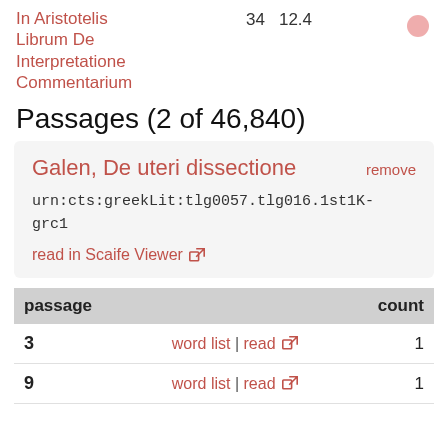In Aristotelis Librum De Interpretatione Commentarium   34   12.4
Passages (2 of 46,840)
Galen, De uteri dissectione   remove
urn:cts:greekLit:tlg0057.tlg016.1st1K-grc1
read in Scaife Viewer
| passage | count |
| --- | --- |
| 3 | word list | read | 1 |
| 9 | word list | read | 1 |